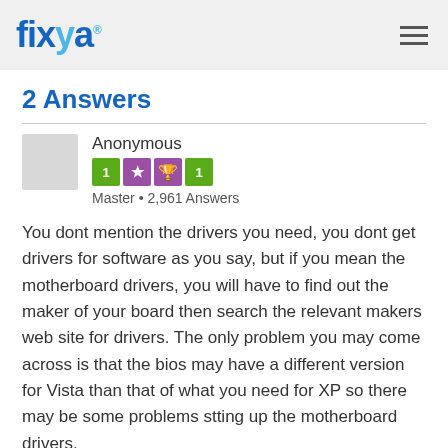fixya
2 Answers
Anonymous
Master • 2,961 Answers
You dont mention the drivers you need, you dont get drivers for software as you say, but if you mean the motherboard drivers, you will have to find out the maker of your board then search the relevant makers web site for drivers. The only problem you may come across is that the bios may have a different version for Vista than that of what you need for XP so there may be some problems stting up the motherboard drivers.
Posted on Sep 01, 2007